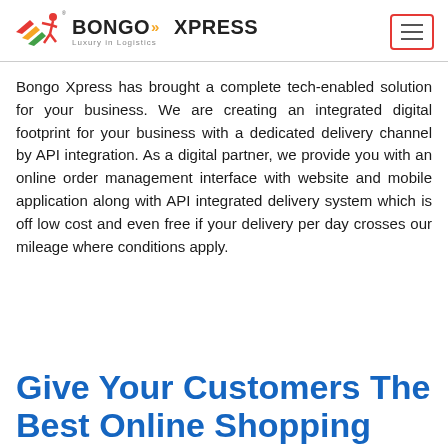BONGO XPRESS Luxury in Logistics
Bongo Xpress has brought a complete tech-enabled solution for your business. We are creating an integrated digital footprint for your business with a dedicated delivery channel by API integration. As a digital partner, we provide you with an online order management interface with website and mobile application along with API integrated delivery system which is off low cost and even free if your delivery per day crosses our mileage where conditions apply.
Give Your Customers The Best Online Shopping